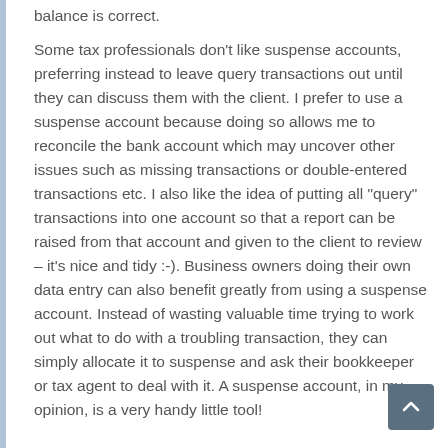balance is correct.
Some tax professionals don't like suspense accounts, preferring instead to leave query transactions out until they can discuss them with the client. I prefer to use a suspense account because doing so allows me to reconcile the bank account which may uncover other issues such as missing transactions or double-entered transactions etc. I also like the idea of putting all "query" transactions into one account so that a report can be raised from that account and given to the client to review – it's nice and tidy :-). Business owners doing their own data entry can also benefit greatly from using a suspense account. Instead of wasting valuable time trying to work out what to do with a troubling transaction, they can simply allocate it to suspense and ask their bookkeeper or tax agent to deal with it. A suspense account, in my opinion, is a very handy little tool!